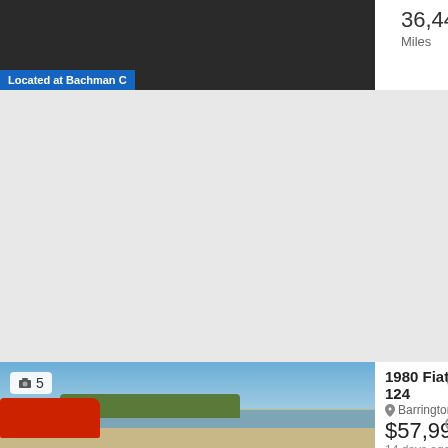36,440 Miles | 2017 Year | 2 Doors
Located at Bachman C
[Figure (map): Gray map area placeholder]
[Figure (photo): 1980 Fiat 124 red convertible parked near water with trees and blue sky, photo count badge showing 5]
1980 Fiat 124
Barrington
$57,990
14 days ago
View car >